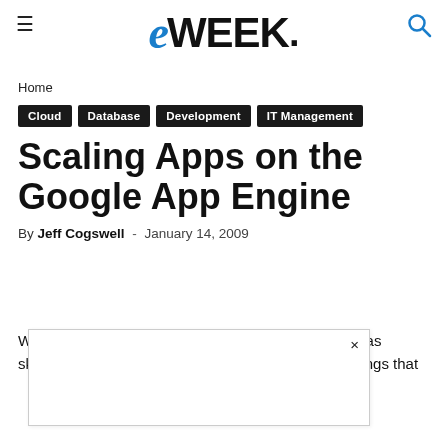eWEEK
Home
Cloud
Database
Development
IT Management
Scaling Apps on the Google App Engine
By Jeff Cogswell - January 14, 2009
When I f...as skeptica...ngs that